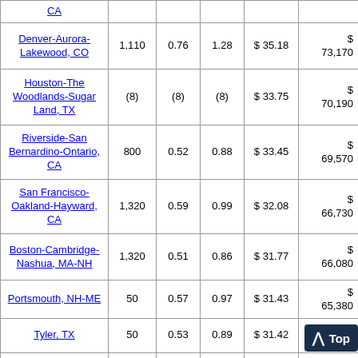| Metropolitan Area | Employment | Col3 | Col4 | Hourly Wage | Annual Wage |
| --- | --- | --- | --- | --- | --- |
| CA |  |  |  |  |  |
| Denver-Aurora-Lakewood, CO | 1,110 | 0.76 | 1.28 | $ 35.18 | $ 73,170 |
| Houston-The Woodlands-Sugar Land, TX | (8) | (8) | (8) | $ 33.75 | $ 70,190 |
| Riverside-San Bernardino-Ontario, CA | 800 | 0.52 | 0.88 | $ 33.45 | $ 69,570 |
| San Francisco-Oakland-Hayward, CA | 1,320 | 0.59 | 0.99 | $ 32.08 | $ 66,730 |
| Boston-Cambridge-Nashua, MA-NH | 1,320 | 0.51 | 0.86 | $ 31.77 | $ 66,080 |
| Portsmouth, NH-ME | 50 | 0.57 | 0.97 | $ 31.43 | $ 65,380 |
| Tyler, TX | 50 | 0.53 | 0.89 | $ 31.42 | $ 65,360 |
| Austin-Round Rock, TX | 870 | 0.81 | 1.38 | $ 3… | $… |